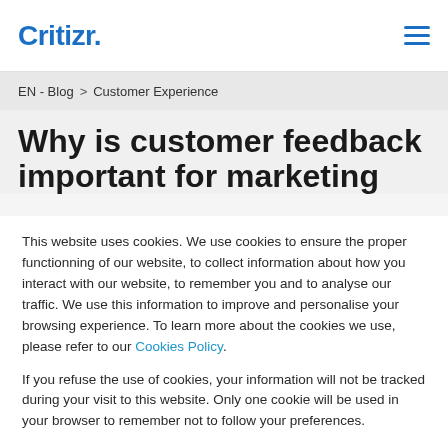Critizr.
EN - Blog > Customer Experience
Why is customer feedback important for marketing
This website uses cookies. We use cookies to ensure the proper functionning of our website, to collect information about how you interact with our website, to remember you and to analyse our traffic. We use this information to improve and personalise your browsing experience. To learn more about the cookies we use, please refer to our Cookies Policy.
If you refuse the use of cookies, your information will not be tracked during your visit to this website. Only one cookie will be used in your browser to remember not to follow your preferences.
Accept cookies
Refuse cookies